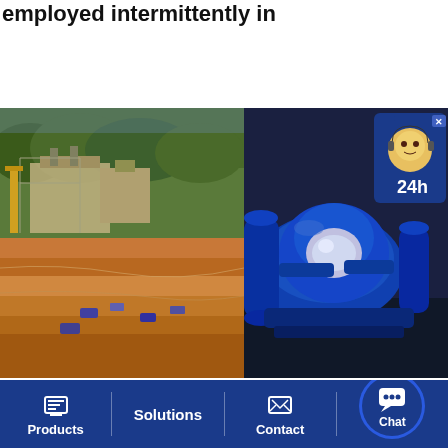employed intermittently in
[Figure (photo): Aerial view of an open-pit mining facility with industrial buildings, orange/red earth and heavy machinery]
[Figure (photo): Blue-painted industrial mining equipment or machinery on a workshop floor]
Heap leachingWikipedia
Heap leaching is an industrial mining process used to extract precious metals, copper, uranium, and other compounds from ore using a series of chemical reactions that
60 Centuries of Copper: Early Copper Mining in Britain
The Great American Expansion of Copper Mining Early Copper Mining in Britain Because of its close association with tin in the mines, copper must
Products  |  Solutions  |  Contact  |  Chat